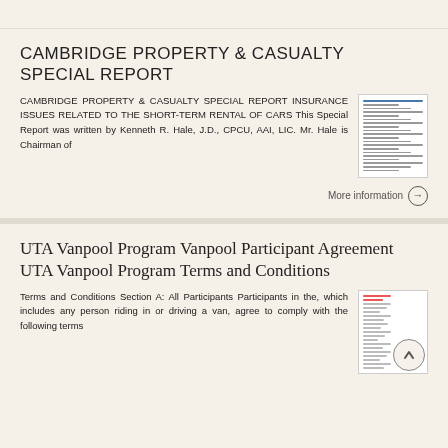CAMBRIDGE PROPERTY & CASUALTY SPECIAL REPORT
CAMBRIDGE PROPERTY & CASUALTY SPECIAL REPORT INSURANCE ISSUES RELATED TO THE SHORT-TERM RENTAL OF CARS This Special Report was written by Kenneth R. Hale, J.D., CPCU, AAI, LIC. Mr. Hale is Chairman of
More information →
UTA Vanpool Program Vanpool Participant Agreement UTA Vanpool Program Terms and Conditions
Terms and Conditions Section A: All Participants Participants in the, which includes any person riding in or driving a van, agree to comply with the following terms